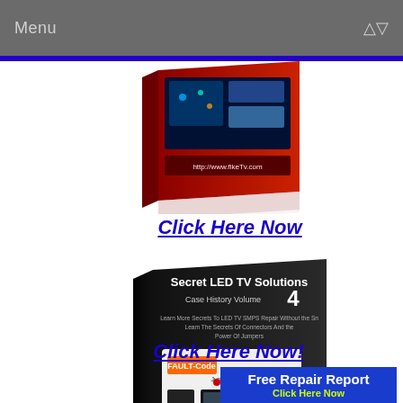Menu
[Figure (illustration): Book cover thumbnail — appears to be an electronics/TV repair book with circuit imagery]
Click Here Now
[Figure (illustration): Book cover: Secret LED TV Solutions Case History Volume 4 by Damon Morrow — black cover with FAULT-Code and repair equipment imagery]
Click Here Now!
[Figure (infographic): Blue banner: Free Repair Report — Click Here Now (in yellow-green)]